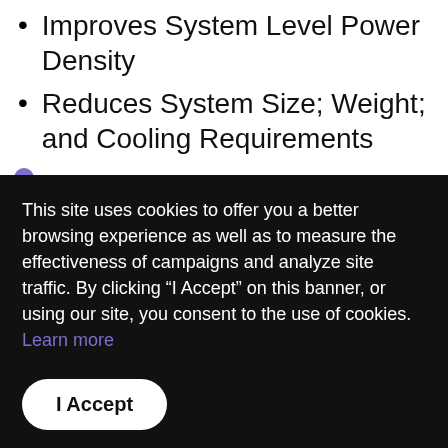Improves System Level Power Density
Reduces System Size; Weight; and Cooling Requirements
This site uses cookies to offer you a better browsing experience as well as to measure the effectiveness of campaigns and analyze site traffic. By clicking “I Accept” on this banner, or using our site, you consent to the use of cookies. Learn more
I Accept